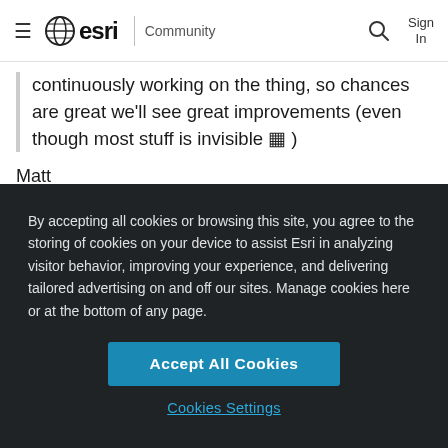≡ esri | Community  🔍  Sign In
continuously working on the thing, so chances are great we'll see great improvements (even though most stuff is invisible 🙂 )
Matt
[Figure (screenshot): Cookie consent overlay on dark background with text: 'By accepting all cookies or browsing this site, you agree to the storing of cookies on your device to assist Esri in analyzing visitor behavior, improving your experience, and delivering tailored advertising on and off our sites. Manage cookies here or at the bottom of any page.' with two buttons: 'Accept All Cookies' (blue) and 'Cookies Settings' (teal link).]